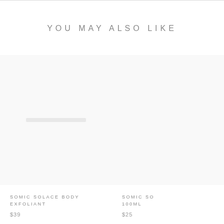YOU MAY ALSO LIKE
SOMIC SOLACE BODY EXFOLIANT
$39
SOMIC SO... 100ML
$25